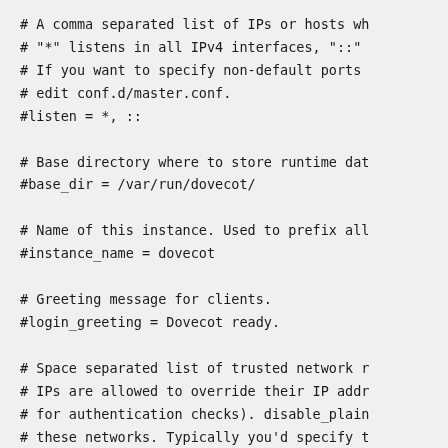# A comma separated list of IPs or hosts wh
# "*" listens in all IPv4 interfaces, "::" 
# If you want to specify non-default ports 
# edit conf.d/master.conf.
#listen = *, ::

# Base directory where to store runtime dat
#base_dir = /var/run/dovecot/

# Name of this instance. Used to prefix all
#instance_name = dovecot

# Greeting message for clients.
#login_greeting = Dovecot ready.

# Space separated list of trusted network r
# IPs are allowed to override their IP addr
# for authentication checks). disable_plain
# these networks. Typically you'd specify t